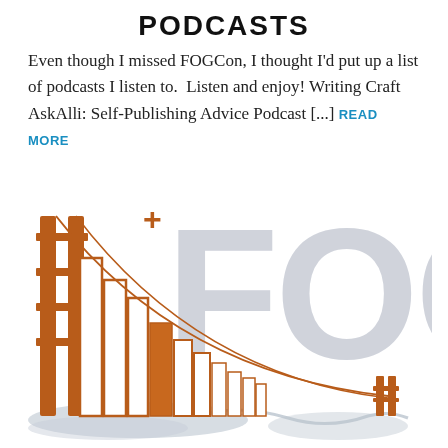PODCASTS
Even though I missed FOGCon, I thought I'd put up a list of podcasts I listen to.  Listen and enjoy! Writing Craft AskAlli: Self-Publishing Advice Podcast [...] READ MORE
[Figure (logo): FOGCon logo featuring a stylized Golden Gate Bridge combined with a stack of books in orange/brown tones, with large gray 'FOGCon' text in the background]